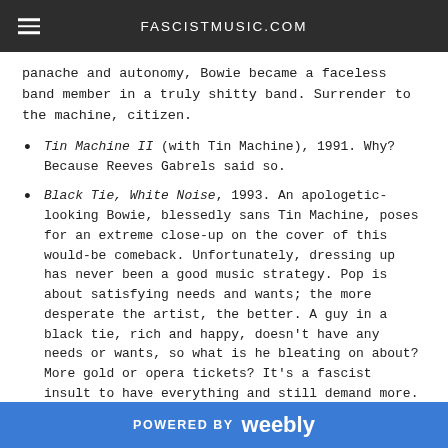FASCISTMUSIC.COM
panache and autonomy, Bowie became a faceless band member in a truly shitty band. Surrender to the machine, citizen.
Tin Machine II (with Tin Machine), 1991. Why? Because Reeves Gabrels said so.
Black Tie, White Noise, 1993. An apologetic-looking Bowie, blessedly sans Tin Machine, poses for an extreme close-up on the cover of this would-be comeback. Unfortunately, dressing up has never been a good music strategy. Pop is about satisfying needs and wants; the more desperate the artist, the better. A guy in a black tie, rich and happy, doesn't have any needs or wants, so what is he bleating on about? More gold or opera tickets? It's a fascist insult to have everything and still demand more.
1.Outside, 1995. On its face, this seems like it might be a commendably weird album, from the name (Bowie
POWERED BY weebly